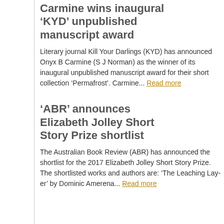Carmine wins inaugural ‘KYD’ unpublished manuscript award
Literary journal Kill Your Darlings (KYD) has announced Onyx B Carmine (S J Norman) as the winner of its inaugural unpublished manuscript award for their short collection ‘Permafrost’. Carmine... Read more
‘ABR’ announces Elizabeth Jolley Short Story Prize shortlist
The Australian Book Review (ABR) has announced the shortlist for the 2017 Elizabeth Jolley Short Story Prize. The shortlisted works and authors are: ‘The Leaching Layer’ by Dominic Amerena... Read more